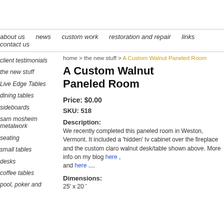about us  news  custom work  restoration and repair  links  contact us
home > the new stuff > A Custom Walnut Paneled Room
A Custom Walnut Paneled Room
Price:  $0.00
SKU:  518
Description:
We recently completed this paneled room in Weston, Vermont. It included a 'hidden' tv cabinet over the fireplace and the custom claro walnut desk/table shown above. More info on my blog here , and here ....
Dimensions:
25' x 20 '
client testimonials
the new stuff
Live Edge Tables
dining tables
sideboards
sam mosheim metalwork
seating
small tables
desks
coffee tables
pool, poker and